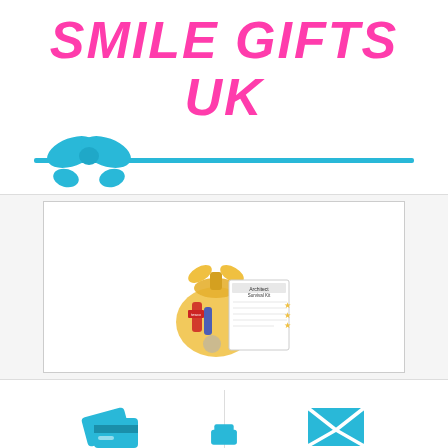SMILE GIFTS UK
[Figure (illustration): Blue bow ribbon graphic with horizontal cyan line through centre]
[Figure (photo): Architect Survival Kit gift bag - gold organza bag with candy and a card labelled Architect Survival Kit with yellow stars]
[Figure (illustration): Cyan credit card / checkout icon]
Checkout
[Figure (illustration): Cyan envelope / contact us icon]
Contact Us
[Figure (illustration): Partial cyan icon at bottom of page]